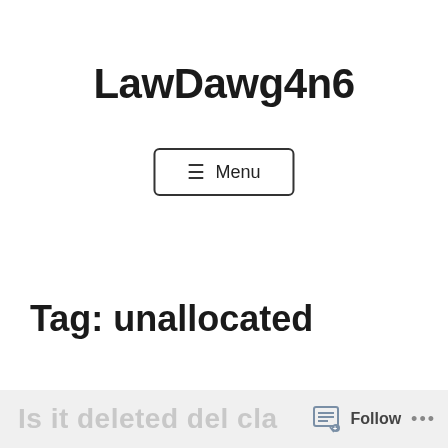LawDawg4n6
☰ Menu
Tag: unallocated
Is it deleted del cla... Follow ...